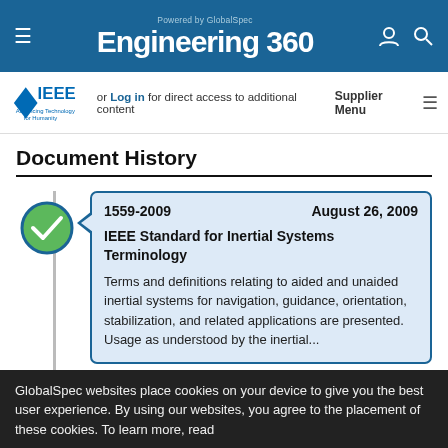Engineering 360 — Powered by GlobalSpec
[Figure (logo): IEEE Advancing Technology for Humanity logo with login prompt and Supplier Menu]
Document History
[Figure (infographic): Green checkmark circle on timeline indicating active/current document version]
1559-2009    August 26, 2009
IEEE Standard for Inertial Systems Terminology
Terms and definitions relating to aided and unaided inertial systems for navigation, guidance, orientation, stabilization, and related applications are presented. Usage as understood by the inertial...
GlobalSpec websites place cookies on your device to give you the best user experience. By using our websites, you agree to the placement of these cookies. To learn more, read